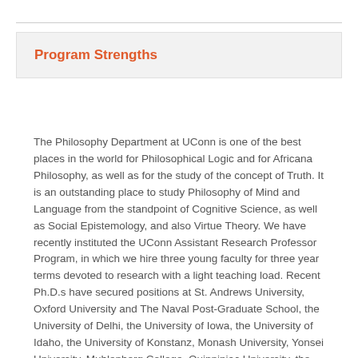Program Strengths
The Philosophy Department at UConn is one of the best places in the world for Philosophical Logic and for Africana Philosophy, as well as for the study of the concept of Truth. It is an outstanding place to study Philosophy of Mind and Language from the standpoint of Cognitive Science, as well as Social Epistemology, and also Virtue Theory. We have recently instituted the UConn Assistant Research Professor Program, in which we hire three young faculty for three year terms devoted to research with a light teaching load. Recent Ph.D.s have secured positions at St. Andrews University, Oxford University and The Naval Post-Graduate School, the University of Delhi, the University of Iowa, the University of Idaho, the University of Konstanz, Monash University, Yonsei University, Muhlenberg College, Quinnipiac University, the University of Minnesota--Duluth, the Czech Academy of Sciences, the University of California--Merced, TPX Communications, and Cycorp. The current group of graduate students come from